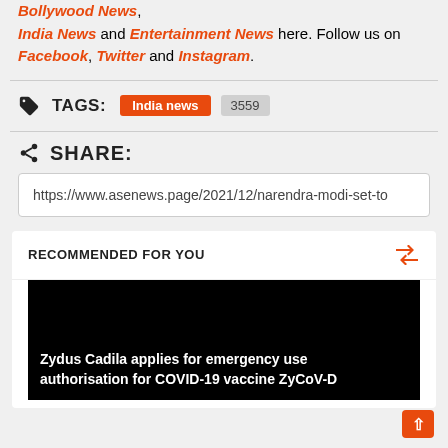Bollywood News, India News and Entertainment News here. Follow us on Facebook, Twitter and Instagram.
TAGS: India news 3559
SHARE:
https://www.asenews.page/2021/12/narendra-modi-set-to
RECOMMENDED FOR YOU
Zydus Cadila applies for emergency use authorisation for COVID-19 vaccine ZyCoV-D